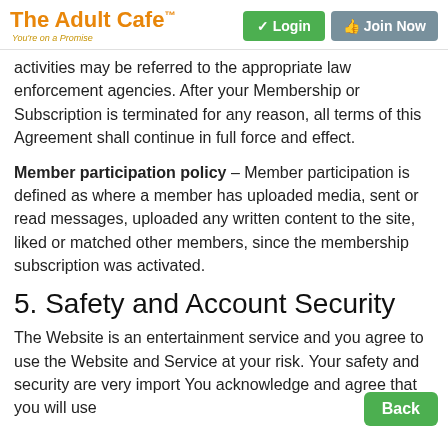The Adult Cafe™ — You're on a Promise | Login | Join Now
activities may be referred to the appropriate law enforcement agencies. After your Membership or Subscription is terminated for any reason, all terms of this Agreement shall continue in full force and effect.
Member participation policy – Member participation is defined as where a member has uploaded media, sent or read messages, uploaded any written content to the site, liked or matched other members, since the membership subscription was activated.
5. Safety and Account Security
The Website is an entertainment service and you agree to use the Website and Service at your risk. Your safety and security are very import... You acknowledge and agree that you will use